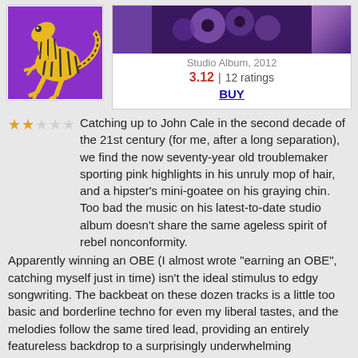[Figure (illustration): Album cover art: yellow lizard/dinosaur with black stripes on a purple/violet background]
[Figure (photo): Album photo thumbnail with purple/dark tones, circular balloon-like shapes visible]
Studio Album, 2012
3.12 | 12 ratings
BUY
★★☆☆☆ Catching up to John Cale in the second decade of the 21st century (for me, after a long separation), we find the now seventy-year old troublemaker sporting pink highlights in his unruly mop of hair, and a hipster's mini-goatee on his graying chin. Too bad the music on his latest-to-date studio album doesn't share the same ageless spirit of rebel nonconformity.
Apparently winning an OBE (I almost wrote "earning an OBE", catching myself just in time) isn't the ideal stimulus to edgy songwriting. The backbeat on these dozen tracks is a little too basic and borderline techno for even my liberal tastes, and the melodies follow the same tired lead, providing an entirely featureless backdrop to a surprisingly underwhelming performance by Cale himself. What's missing is the passion and peril of his best work, that exhilarating sensation of clinging to a runaway freight train always about to jump its emotional rails.
With his voice pitched somewhere between the fading pipes of Bryan Ferry and David Bowie, and too often leaning hard on